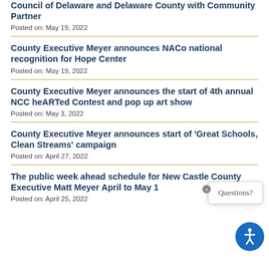Council of Delaware and Delaware County with Community Partner
Posted on: May 19, 2022
County Executive Meyer announces NACo national recognition for Hope Center
Posted on: May 19, 2022
County Executive Meyer announces the start of 4th annual NCC heARTed Contest and pop up art show
Posted on: May 3, 2022
County Executive Meyer announces start of 'Great Schools, Clean Streams' campaign
Posted on: April 27, 2022
The public week ahead schedule for New Castle County Executive Matt Meyer April to May 1
Posted on: April 25, 2022